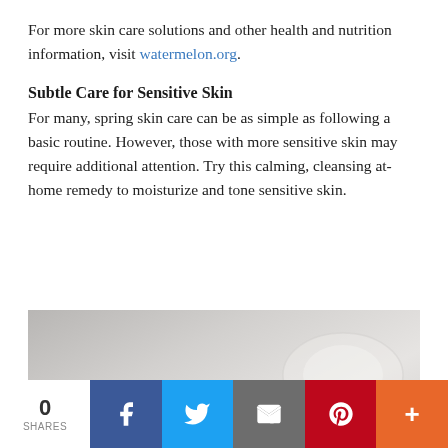For more skin care solutions and other health and nutrition information, visit watermelon.org.
Subtle Care for Sensitive Skin
For many, spring skin care can be as simple as following a basic routine. However, those with more sensitive skin may require additional attention. Try this calming, cleansing at-home remedy to moisturize and tone sensitive skin.
[Figure (photo): Close-up photo of glass/metal cosmetic jars on a light background, one jar lid prominently in foreground]
0 SHARES  [Facebook] [Twitter] [Email] [Pinterest] [More]